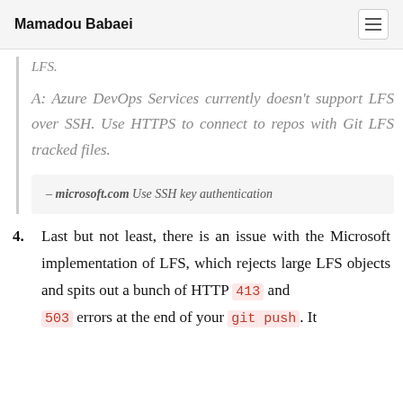Mamadou Babaei
LFS.
A: Azure DevOps Services currently doesn't support LFS over SSH. Use HTTPS to connect to repos with Git LFS tracked files.
— microsoft.com Use SSH key authentication
4. Last but not least, there is an issue with the Microsoft implementation of LFS, which rejects large LFS objects and spits out a bunch of HTTP 413 and 503 errors at the end of your git push. It